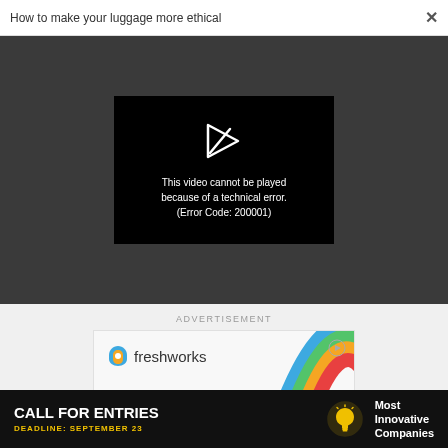How to make your luggage more ethical  ×
[Figure (screenshot): Video player showing error: 'This video cannot be played because of a technical error. (Error Code: 200001)' on a dark background with a broken play icon.]
ADVERTISEMENT
[Figure (screenshot): Freshworks advertisement banner with rainbow arc graphic and 'From WTF' text partially visible.]
[Figure (screenshot): Bottom black banner: CALL FOR ENTRIES — DEADLINE: SEPTEMBER 23 — Most Innovative Companies]